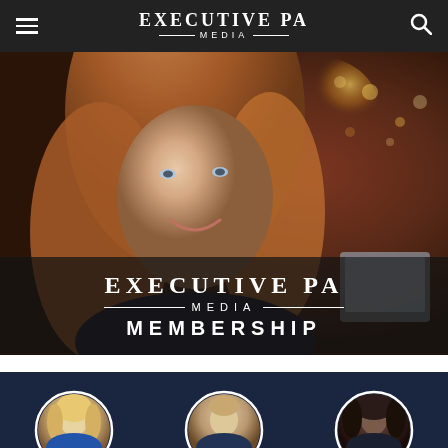EXECUTIVE PA MEDIA
[Figure (photo): Hero image of a smiling young woman with long auburn hair in a dark top, seated in a restaurant/bar setting with bokeh fairy lights and brick walls visible in the background. Overlaid text logo 'EXECUTIVE PA MEDIA MEMBERSHIP'.]
[Figure (photo): Bottom strip showing three circular portrait photos of people on a dark navy background — a woman with blonde hair, a man, and a woman with curly dark hair.]